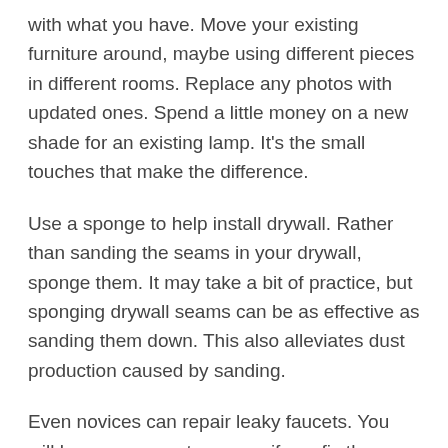with what you have. Move your existing furniture around, maybe using different pieces in different rooms. Replace any photos with updated ones. Spend a little money on a new shade for an existing lamp. It's the small touches that make the difference.
Use a sponge to help install drywall. Rather than sanding the seams in your drywall, sponge them. It may take a bit of practice, but sponging drywall seams can be as effective as sanding them down. This also alleviates dust production caused by sanding.
Even novices can repair leaky faucets. You will lessen your water usage if you fix them right away. This can keep you within even a tight budget.
Empty 2-liter bottles can be used as easy storage containers. You can see what's inside, and anything you put in them will stay completely dry and safe. They are great for grains, flour, sugar and other staples. You can store these on a shelf or in the freezer